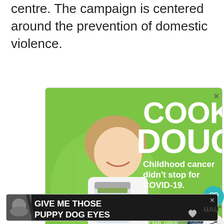centre. The campaign is centered around the prevention of domestic violence.
[Figure (photo): Advertisement for Cookies for Kids' Cancer featuring a smiling girl holding a jar of money on a green background. Text reads: COOKIE DOUGH, Childhood cancer didn't stop for COVID-19. LETS GET BAKING! cookies for kids' cancer]
[Figure (photo): Advertisement with dark background showing a dog and text: GIVE ME THOSE PUPPY DOG EYES with a heart icon]